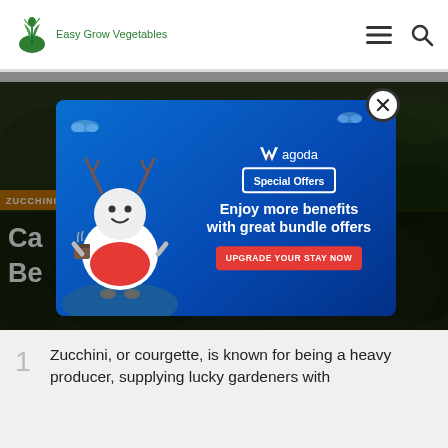Easy Grow Vegetables
[Figure (screenshot): Website screenshot showing Easy Grow Vegetables blog page with a zucchini article hero image (dark green garden background), orange ZUCCHINI category tag, partial white article title text, and a Vagoda Special Offers popup ad overlay with character illustration, 'Enjoy more benefits with great bundle offers' headline and 'UPGRADE YOUR STAY NOW' red button]
Zucchini, or courgette, is known for being a heavy producer, supplying lucky gardeners with